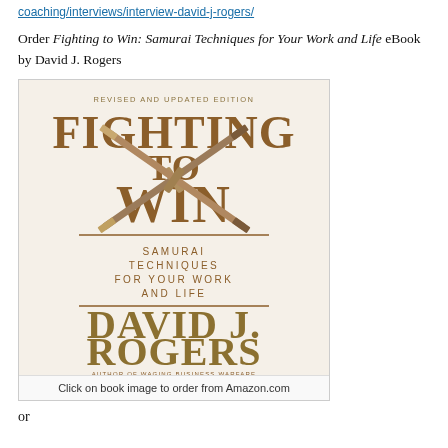coaching/interviews/interview-david-j-rogers/
Order Fighting to Win: Samurai Techniques for Your Work and Life eBook by David J. Rogers
[Figure (illustration): Book cover of 'Fighting to Win: Samurai Techniques for Your Work and Life' by David J. Rogers, Revised and Updated Edition. Shows crossed samurai swords with golden/brown title text and author name in large gold letters at bottom. Subtitle 'Samurai Techniques for Your Work and Life'. Footer text: 'Author of Waging Business Warfare'.]
Click on book image to order from Amazon.com
or